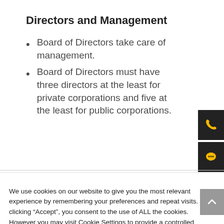Directors and Management
Board of Directors take care of management.
Board of Directors must have three directors at the least for private corporations and five at the least for public corporations.
We use cookies on our website to give you the most relevant experience by remembering your preferences and repeat visits. By clicking “Accept”, you consent to the use of ALL the cookies. However you may visit Cookie Settings to provide a controlled consent.